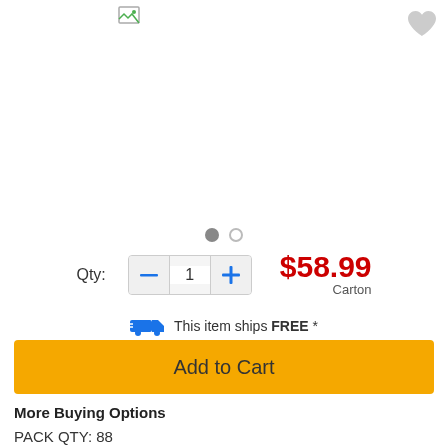[Figure (photo): Product image area (broken/loading image icon visible at top left of image area)]
[Figure (illustration): Gray heart wishlist icon in top right corner]
Qty:
1
$58.99
Carton
This item ships FREE *
Add to Cart
More Buying Options
PACK QTY: 88